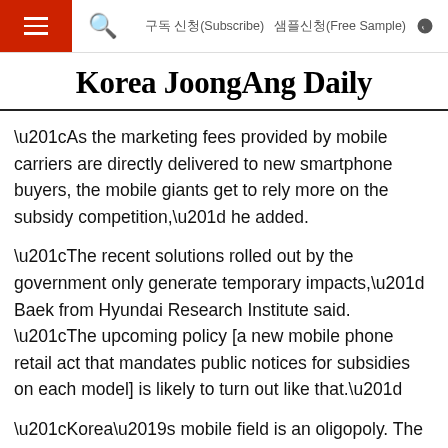Korea JoongAng Daily — 구독 신청(Subscribe) 샘플신청(Free Sample)
Korea JoongAng Daily
“As the marketing fees provided by mobile carriers are directly delivered to new smartphone buyers, the mobile giants get to rely more on the subsidy competition,” he added.
“The recent solutions rolled out by the government only generate temporary impacts,” Baek from Hyundai Research Institute said. “The upcoming policy [a new mobile phone retail act that mandates public notices for subsidies on each model] is likely to turn out like that.”
“Korea’s mobile field is an oligopoly. The market structure should move towards free competition among multiple players. That’s where government should come in,” he added. “The telecom service providers and phone manufacturers should work towards minimizing gaps among players in the first place, like other...